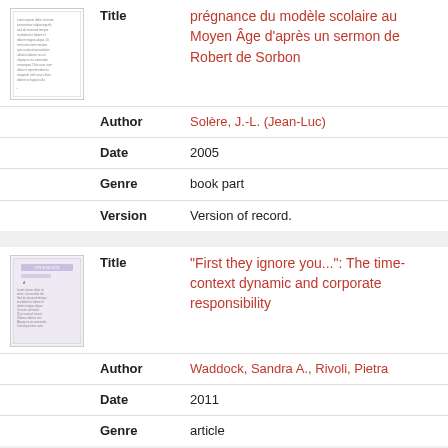|  | Field | Value |
| --- | --- | --- |
| [thumbnail] | Title | prégnance du modèle scolaire au Moyen Âge d'après un sermon de Robert de Sorbon |
|  | Author | Solère, J.-L. (Jean-Luc) |
|  | Date | 2005 |
|  | Genre | book part |
|  | Version | Version of record. |
|  | Field | Value |
| --- | --- | --- |
| [thumbnail] | Title | "First they ignore you...": The time-context dynamic and corporate responsibility |
|  | Author | Waddock, Sandra A., Rivoli, Pietra |
|  | Date | 2011 |
|  | Genre | article |